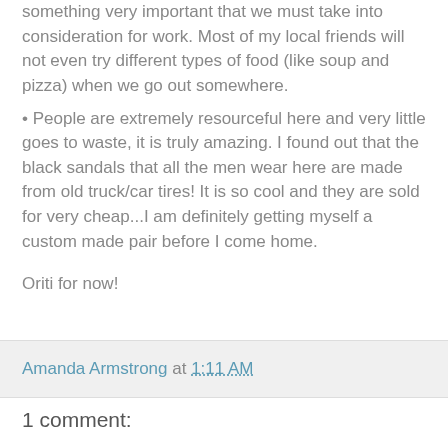something very important that we must take into consideration for work. Most of my local friends will not even try different types of food (like soup and pizza) when we go out somewhere.
• People are extremely resourceful here and very little goes to waste, it is truly amazing. I found out that the black sandals that all the men wear here are made from old truck/car tires! It is so cool and they are sold for very cheap...I am definitely getting myself a custom made pair before I come home.
Oriti for now!
Amanda Armstrong at 1:11 AM
1 comment: